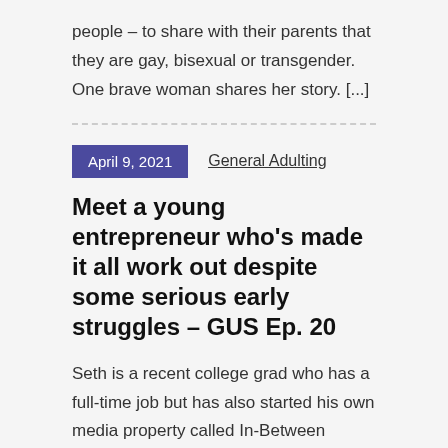people – to share with their parents that they are gay, bisexual or transgender. One brave woman shares her story. [...]
April 9, 2021
General Adulting
Meet a young entrepreneur who's made it all work out despite some serious early struggles – GUS Ep. 20
Seth is a recent college grad who has a full-time job but has also started his own media property called In-Between Media. Now it has a staff, thousands of hits, [...]